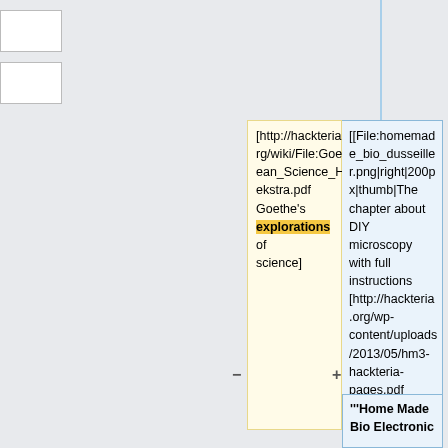[http://hackteria.org/wiki/File:Goethean_Science_Hoekstra.pdf Goethe's explorations of science]
[[File:homemade_bio_dusseiller.png|right|200px|thumb|The chapter about DIY microscopy with full instructions [http://hackteria.org/wp-content/uploads/2013/05/hm3-hackteria-pages.pdf here]for download.]]
'''Home Made Bio Electronic